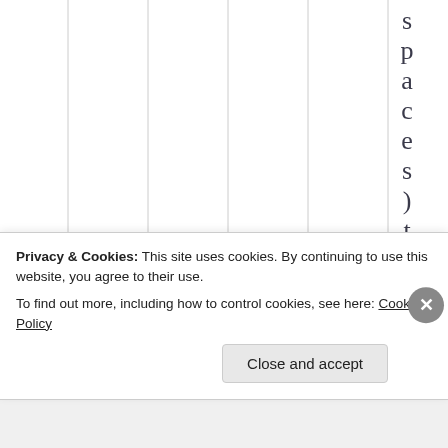[Figure (other): Partial table grid with vertical column lines visible, showing mostly empty white cells. On the right side, vertical text spelling out 'spaces) they' with each letter on its own line.]
Privacy & Cookies: This site uses cookies. By continuing to use this website, you agree to their use.
To find out more, including how to control cookies, see here: Cookie Policy
Close and accept